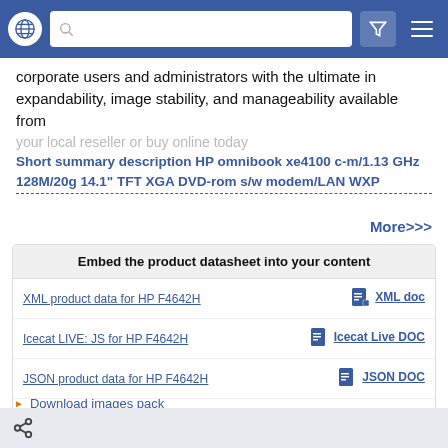Navigation bar with globe icon, search bar, filter icon, and menu icon
corporate users and administrators with the ultimate in expandability, image stability, and manageability available from
your local reseller or buy online today
Short summary description HP omnibook xe4100 c-m/1.13 GHz 128M/20g 14.1" TFT XGA DVD-rom s/w modem/LAN WXP
More>>>
| Embed the product datasheet into your content |  |
| --- | --- |
| XML product data for HP F4642H | XML doc |
| Icecat LIVE: JS for HP F4642H | Icecat Live DOC |
| JSON product data for HP F4642H | JSON DOC |
| CSV product data for HP F4642H | CSV DOC |
Download images pack
Icecat Add-ons
Share icon